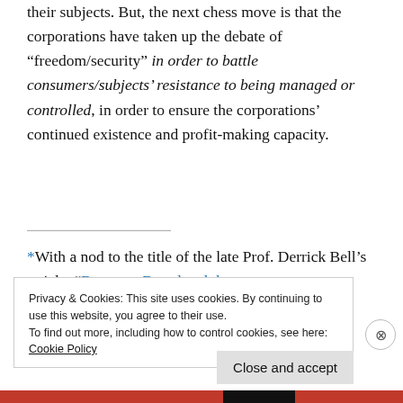their subjects. But, the next chess move is that the corporations have taken up the debate of “freedom/security” in order to battle consumers/subjects’ resistance to being managed or controlled, in order to ensure the corporations’ continued existence and profit-making capacity.
*With a nod to the title of the late Prof. Derrick Bell’s article, “Brown v. Board and the
Privacy & Cookies: This site uses cookies. By continuing to use this website, you agree to their use.
To find out more, including how to control cookies, see here:
Cookie Policy